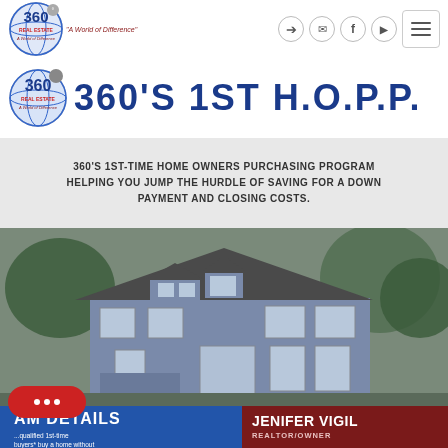[Figure (logo): 360 Real Estate logo circle with globe design]
Navigation icons: login, email, Facebook, YouTube, hamburger menu
[Figure (infographic): 360's 1ST H.O.P.P. banner with logo and large blue title text]
360'S 1ST-TIME HOME OWNERS PURCHASING PROGRAM HELPING YOU JUMP THE HURDLE OF SAVING FOR A DOWN PAYMENT AND CLOSING COSTS.
[Figure (photo): Blue two-story house with metal roof surrounded by trees]
PROGRAM DETAILS
...qualified 1st-time buyers* buy a home without
JENIFER VIGIL
REALTOR/OWNER